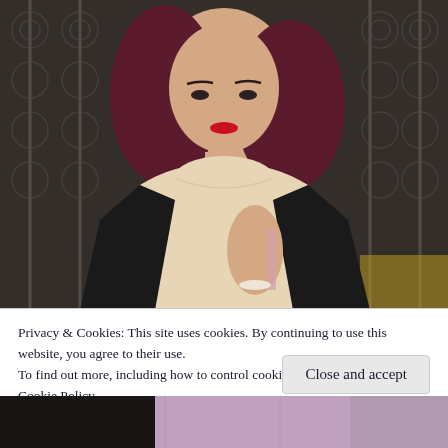[Figure (photo): Fashion photo of a woman with dark red hair, red lips, wearing a cream turtleneck sweater and black coat, standing in front of ornate dark metal gates/railings]
Privacy & Cookies: This site uses cookies. By continuing to use this website, you agree to their use.
To find out more, including how to control cookies, see here:
Cookie Policy
Close and accept
[Figure (photo): Partial view of another fashion photo at the bottom — woman in light purple/lavender outfit]